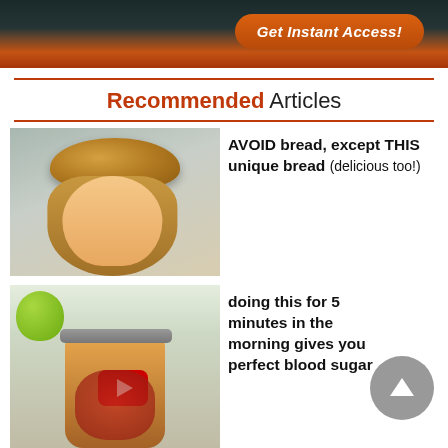[Figure (screenshot): Dark banner with flames background and orange 'Get Instant Access!' button]
Recommended Articles
[Figure (photo): Woman with a loaf of bread balanced on her head, smiling]
AVOID bread, except THIS unique bread (delicious too!)
[Figure (photo): Glass jar with red/brown drink and fruits, YouTube play button overlay, green apple in background]
doing this for 5 minutes in the morning gives you perfect blood sugar